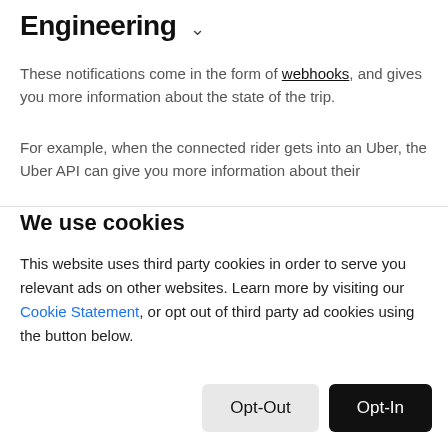Engineering
These notifications come in the form of webhooks, and gives you more information about the state of the trip.
For example, when the connected rider gets into an Uber, the Uber API can give you more information about their
We use cookies
This website uses third party cookies in order to serve you relevant ads on other websites. Learn more by visiting our Cookie Statement, or opt out of third party ad cookies using the button below.